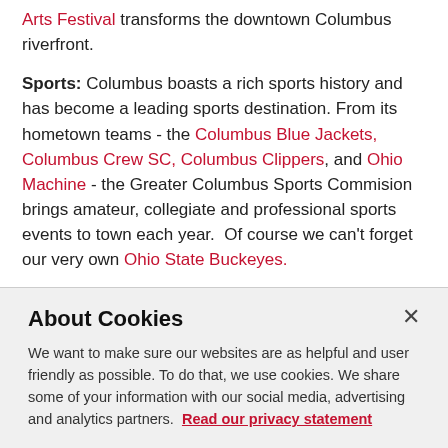Arts Festival transforms the downtown Columbus riverfront.
Sports: Columbus boasts a rich sports history and has become a leading sports destination. From its hometown teams - the Columbus Blue Jackets, Columbus Crew SC, Columbus Clippers, and Ohio Machine - the Greater Columbus Sports Commision brings amateur, collegiate and professional sports events to town each year.  Of course we can't forget our very own Ohio State Buckeyes.
Exercise: There are Metro Parks, a bike path that stretches for almost twenty miles through Columbus and past campus, and if you go further South of the city, you can find hiking, birdwatching, and climbing on the largest free
About Cookies
We want to make sure our websites are as helpful and user friendly as possible. To do that, we use cookies. We share some of your information with our social media, advertising and analytics partners. Read our privacy statement